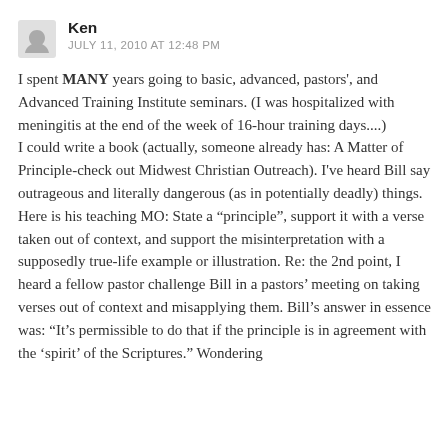Ken
JULY 11, 2010 AT 12:48 PM
I spent MANY years going to basic, advanced, pastors', and Advanced Training Institute seminars. (I was hospitalized with meningitis at the end of the week of 16-hour training days....)
I could write a book (actually, someone already has: A Matter of Principle-check out Midwest Christian Outreach). I've heard Bill say outrageous and literally dangerous (as in potentially deadly) things.
Here is his teaching MO: State a “principle”, support it with a verse taken out of context, and support the misinterpretation with a supposedly true-life example or illustration. Re: the 2nd point, I heard a fellow pastor challenge Bill in a pastors’ meeting on taking verses out of context and misapplying them. Bill’s answer in essence was: “It’s permissible to do that if the principle is in agreement with the ‘spirit’ of the Scriptures.” Wondering